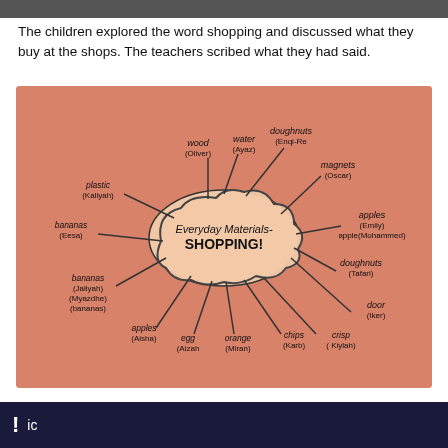The children explored the word shopping and discussed what they buy at the shops. The teachers scribed what they had said.
[Figure (photo): A mind map on orange/salmon-coloured paper with 'Everyday Materials- SHOPPING!' in the centre cloud shape, surrounded by items children buy at shops with child names in parentheses: wood (Oliver), water (Ayaz), doughnuts (Enqi-Re), magnets (Oscar), apples (Emily), apple (Mohammed), doughnuts (Tafari), door (Iker), crisp (Kiylah), chips (Karb), orange (Miran), egg (Aizah), apples (Aisha), (Myazdhe) bananas, (Jaliyah) bananas, bananas (Eesa), plastic (Kaliyah)]
! ic